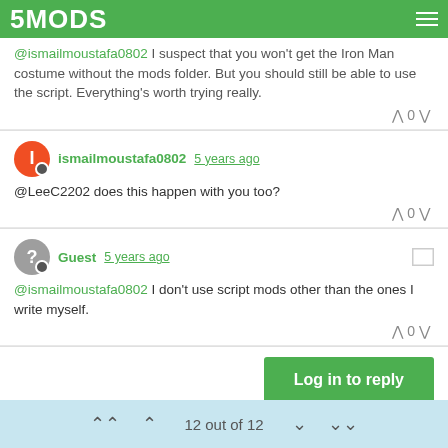5MODS
@ismailmoustafa0802 I suspect that you won't get the Iron Man costume without the mods folder. But you should still be able to use the script. Everything's worth trying really.
ismailmoustafa0802 5 years ago
@LeeC2202 does this happen with you too?
Guest 5 years ago
@ismailmoustafa0802 I don't use script mods other than the ones I write myself.
Log in to reply
12 out of 12